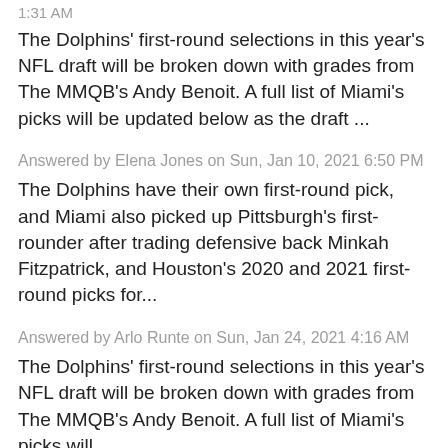1:31 AM
The Dolphins' first-round selections in this year's NFL draft will be broken down with grades from The MMQB's Andy Benoit. A full list of Miami's picks will be updated below as the draft ...
Answered by Elena Jones on Sun, Jan 10, 2021 6:50 PM
The Dolphins have their own first-round pick, and Miami also picked up Pittsburgh's first-rounder after trading defensive back Minkah Fitzpatrick, and Houston's 2020 and 2021 first-round picks for...
Answered by Arlo Runte on Sun, Jan 24, 2021 4:16 AM
The Dolphins' first-round selections in this year's NFL draft will be broken down with grades from The MMQB's Andy Benoit. A full list of Miami's picks will